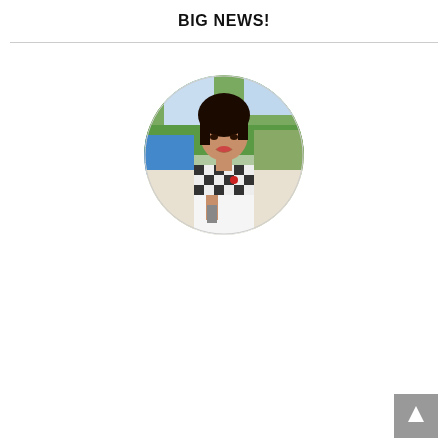BIG NEWS!
[Figure (photo): Circular profile photo of a young woman wearing a black and white checkered shirt, smiling, outdoors with trees in background]
[Figure (other): Back-to-top button: gray square with white upward arrow]